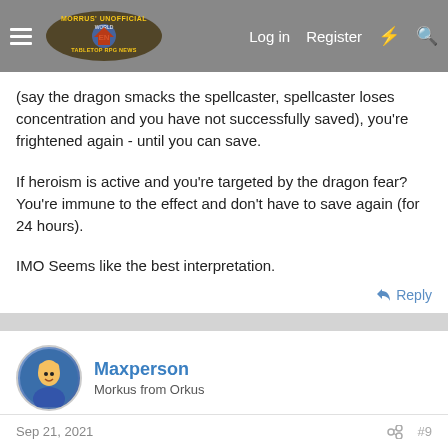Morrus' Unofficial Tabletop RPG News | Log in | Register
(say the dragon smacks the spellcaster, spellcaster loses concentration and you have not successfully saved), you're frightened again - until you can save.
If heroism is active and you're targeted by the dragon fear? You're immune to the effect and don't have to save again (for 24 hours).
IMO Seems like the best interpretation.
Reply
Maxperson
Morkus from Orkus
Sep 21, 2021 | #9